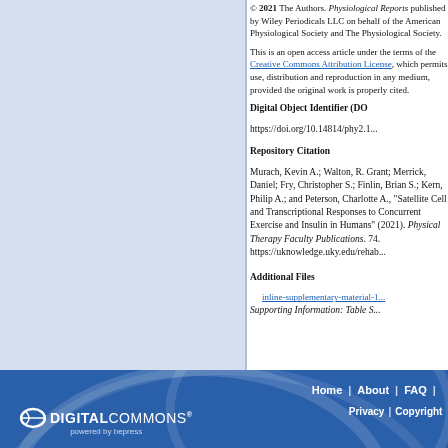[Figure (other): Light blue background panel on the left side of the page]
© 2021 The Authors. Physiological Reports published by Wiley Periodicals LLC on behalf of the American Physiological Society and The Physiological Society.
This is an open access article under the terms of the Creative Commons Attribution License, which permits use, distribution and reproduction in any medium, provided the original work is properly cited.
Digital Object Identifier (DOI)
https://doi.org/10.14814/phy2.1...
Repository Citation
Murach, Kevin A.; Walton, R. Grant; Merrick, Daniel; Fry, Christopher S.; Finlin, Brian S.; Kern, Philip A.; and Peterson, Charlotte A., "Satellite Cell and Transcriptional Responses to Concurrent Exercise and Insulin in Humans" (2021). Physical Therapy Faculty Publications. 74. https://uknowledge.uky.edu/rehat...
Additional Files
inline-supplementary-material-1
Supporting Information: Table S...
DIGITAL COMMONS powered by bepress | Home | About | FAQ | Privacy | Copyright